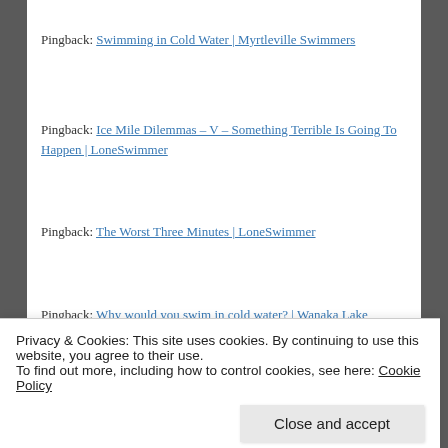Pingback: Swimming in Cold Water | Myrtleville Swimmers
Pingback: Ice Mile Dilemmas – V – Something Terrible Is Going To Happen | LoneSwimmer
Pingback: The Worst Three Minutes | LoneSwimmer
Pingback: Why would you swim in cold water? | Wanaka Lake Swimmers
[Figure (other): Red advertisement banner with border]
REPORT THIS AD
Privacy & Cookies: This site uses cookies. By continuing to use this website, you agree to their use.
To find out more, including how to control cookies, see here: Cookie Policy
Close and accept